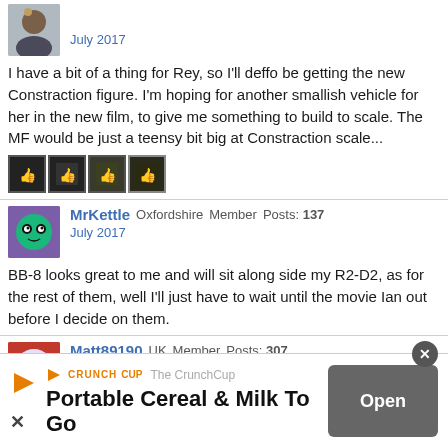[Figure (photo): User avatar for first poster, July 2017]
July 2017
I have a bit of a thing for Rey, so I'll deffo be getting the new Constraction figure. I'm hoping for another smallish vehicle for her in the new film, to give me something to build to scale. The MF would be just a teensy bit big at Constraction scale...
[Figure (other): Four thumbs-up like icons]
[Figure (photo): MrKettle avatar - cartoon face with glasses on purple background]
MrKettle Oxfordshire Member Posts: 137
July 2017
BB-8 looks great to me and will sit along side my R2-D2, as for the rest of them, well I'll just have to wait until the movie Ian out before I decide on them.
[Figure (photo): Matt89190 avatar - cartoon devil face on red background]
Matt89190 UK Member Posts: 307
July 2017
BB-8 is great, but if I got him I'd need and R2...
[Figure (other): Advertisement: The CrunchCup - Portable Cereal & Milk To Go]